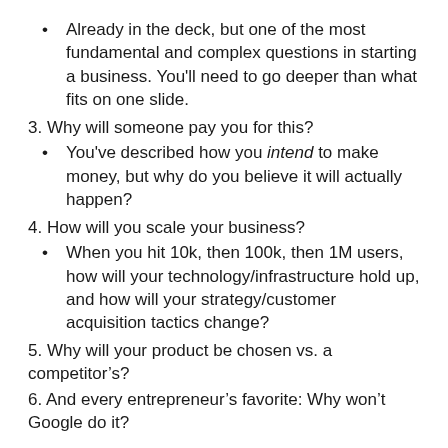Already in the deck, but one of the most fundamental and complex questions in starting a business. You'll need to go deeper than what fits on one slide.
3. Why will someone pay you for this?
You've described how you intend to make money, but why do you believe it will actually happen?
4. How will you scale your business?
When you hit 10k, then 100k, then 1M users, how will your technology/infrastructure hold up, and how will your strategy/customer acquisition tactics change?
5. Why will your product be chosen vs. a competitorâs?
6. And every entrepreneurâs favorite: Why wonât Google do it?
In addition, there will be a few questions specific to your industry or company that people will typically ask after you present. The best way to learn these quickly is to practice pitching and presenting your deck to folks who